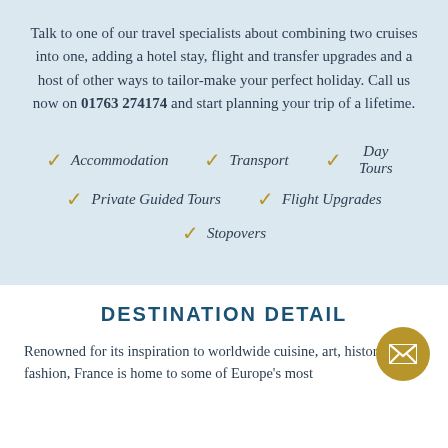Talk to one of our travel specialists about combining two cruises into one, adding a hotel stay, flight and transfer upgrades and a host of other ways to tailor-make your perfect holiday. Call us now on 01763 274174 and start planning your trip of a lifetime.
✓ Accommodation
✓ Transport
✓ Day Tours
✓ Private Guided Tours
✓ Flight Upgrades
✓ Stopovers
DESTINATION DETAIL
Renowned for its inspiration to worldwide cuisine, art, history and fashion, France is home to some of Europe's most